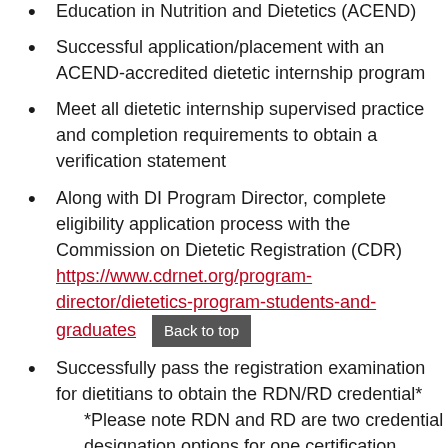Education in Nutrition and Dietetics (ACEND)
Successful application/placement with an ACEND-accredited dietetic internship program
Meet all dietetic internship supervised practice and completion requirements to obtain a verification statement
Along with DI Program Director, complete eligibility application process with the Commission on Dietetic Registration (CDR) https://www.cdrnet.org/program-director/dietetics-program-students-and-graduates
Successfully pass the registration examination for dietitians to obtain the RDN/RD credential* *Please note RDN and RD are two credential designation options for one certification program. Practitioners may choose to use one or the other.